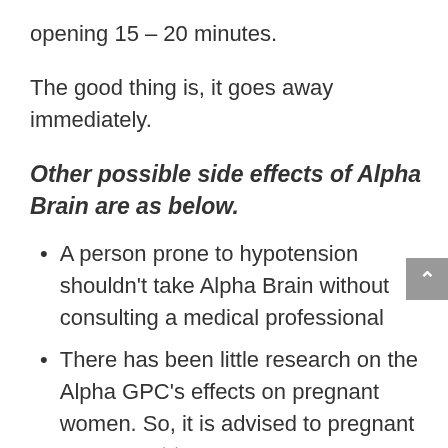opening 15 – 20 minutes.
The good thing is, it goes away immediately.
Other possible side effects of Alpha Brain are as below.
A person prone to hypotension shouldn't take Alpha Brain without consulting a medical professional
There has been little research on the Alpha GPC's effects on pregnant women. So, it is advised to pregnant women not to use.
Heart attack, seizures, or stroke